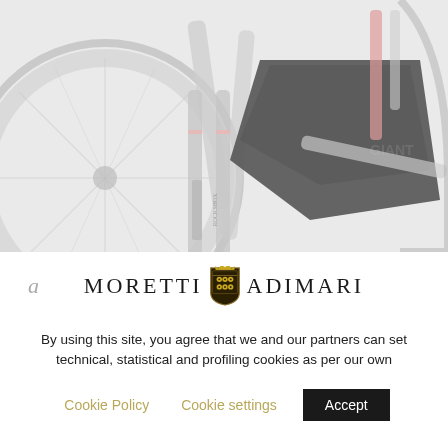[Figure (photo): Close-up photo of a mountain bike front fork and wheel area with a black mudguard/fender attached, bike frame has pink/coral accents, image appears faded/desaturated]
[Figure (logo): Moretti Adimari brand logo with heraldic shield/crest in center, letter 'a' in gray italic on left]
By using this site, you agree that we and our partners can set technical, statistical and profiling cookies as per our own
Cookie Policy   Cookie settings   Accept